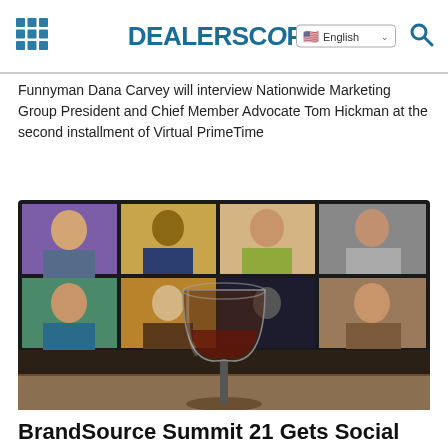DEALERSCOPE
Funnyman Dana Carvey will interview Nationwide Marketing Group President and Chief Member Advocate Tom Hickman at the second installment of Virtual PrimeTime
[Figure (photo): A wine glass in the foreground with a screen showing a video conference call with multiple participants in the background]
BrandSource Summit 21 Gets Social From a Distance